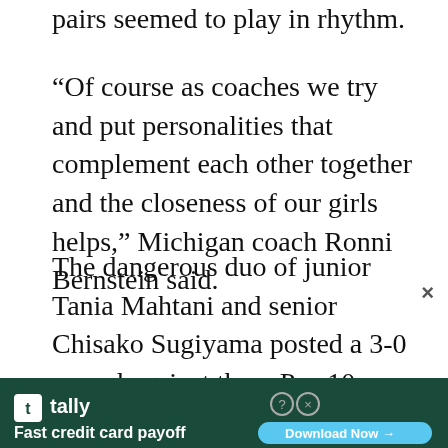pairs seemed to play in rhythm.
“Of course as coaches we try and put personalities that complement each other together and the closeness of our girls helps,” Michigan coach Ronni Bernstein said.
The dangerous duo of junior Tania Mahtani and senior Chisako Sugiyama posted a 3-0 record against three Pac 10 teams. The other tandem of sophomore Denise Murasan and classmate Whitney Taney went 2-0 before Denise was paired with senior Lindsey Howard on Sunday. Sophomore Rika Tatsuno also concluded doubles play with a winning
[Figure (other): Advertisement banner for Tally app - Fast credit card payoff with Download Now button]